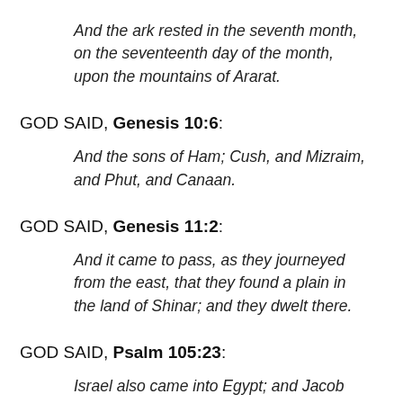And the ark rested in the seventh month, on the seventeenth day of the month, upon the mountains of Ararat.
GOD SAID, Genesis 10:6:
And the sons of Ham; Cush, and Mizraim, and Phut, and Canaan.
GOD SAID, Genesis 11:2:
And it came to pass, as they journeyed from the east, that they found a plain in the land of Shinar; and they dwelt there.
GOD SAID, Psalm 105:23:
Israel also came into Egypt; and Jacob